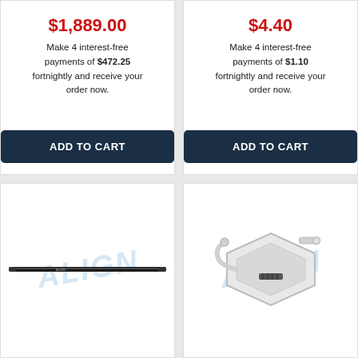$1,889.00
Make 4 interest-free payments of $472.25 fortnightly and receive your order now.
ADD TO CART
$4.40
Make 4 interest-free payments of $1.10 fortnightly and receive your order now.
ADD TO CART
[Figure (photo): Black carbon fiber rod/tube product with ALIGN watermark overlay]
[Figure (photo): White hexagonal landing gear / skid stand product with ALIGN watermark overlay]